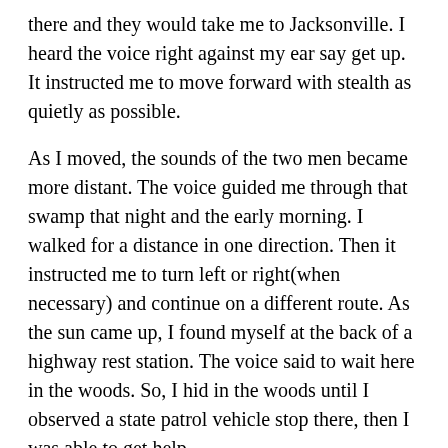there and they would take me to Jacksonville. I heard the voice right against my ear say get up. It instructed me to move forward with stealth as quietly as possible.
As I moved, the sounds of the two men became more distant. The voice guided me through that swamp that night and the early morning. I walked for a distance in one direction. Then it instructed me to turn left or right(when necessary) and continue on a different route. As the sun came up, I found myself at the back of a highway rest station. The voice said to wait here in the woods. So, I hid in the woods until I observed a state patrol vehicle stop there, then I was able to get help.
Over the months since this has happened, I have thought about this situation constantly. Before that night, I never heard that voice. It was unfamiliar to me. I haven't heard it since that night. I don't pretend to know who or what that voice was. I don't know why it saved me and I can't say why I am worth saving. I am just so grateful that it